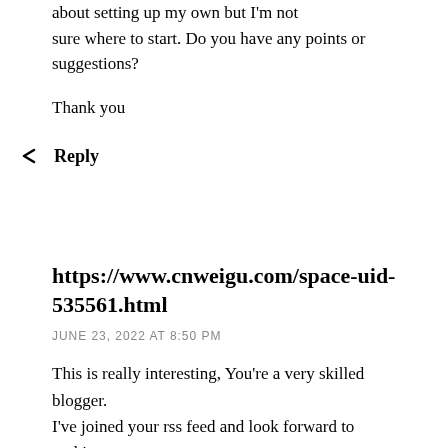I can figure things out pretty quick. I'm thinking about setting up my own but I'm not sure where to start. Do you have any points or suggestions?
Thank you
↩ Reply
https://www.cnweigu.com/space-uid-535561.html
JUNE 23, 2022 AT 8:50 PM
This is really interesting, You're a very skilled blogger.
I've joined your rss feed and look forward to seeking more
of your wonderful post. Also, I've shared your site in my social